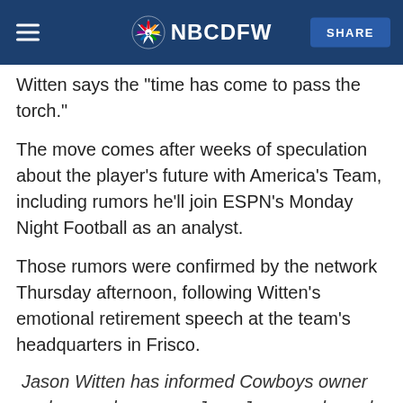NBC DFW
Witten says the "time has come to pass the torch."
The move comes after weeks of speculation about the player's future with America's Team, including rumors he'll join ESPN's Monday Night Football as an analyst.
Those rumors were confirmed by the network Thursday afternoon, following Witten's emotional retirement speech at the team's headquarters in Frisco.
Jason Witten has informed Cowboys owner and general manager Jerry Jones and coach Jason Garrett that he will retire, according to multiple sources, who said the tight end will accept a position with ESPN's Monday Night football. Witten struggled with…